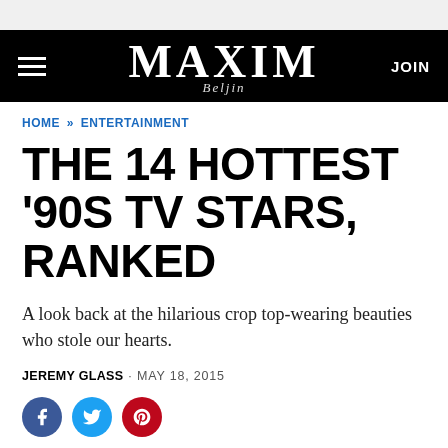MAXIM | JOIN
HOME » ENTERTAINMENT
THE 14 HOTTEST '90S TV STARS, RANKED
A look back at the hilarious crop top-wearing beauties who stole our hearts.
JEREMY GLASS · MAY 18, 2015
[Figure (infographic): Social sharing icons: Facebook (blue circle with f), Twitter (light blue circle with bird), Pinterest (red circle with P)]